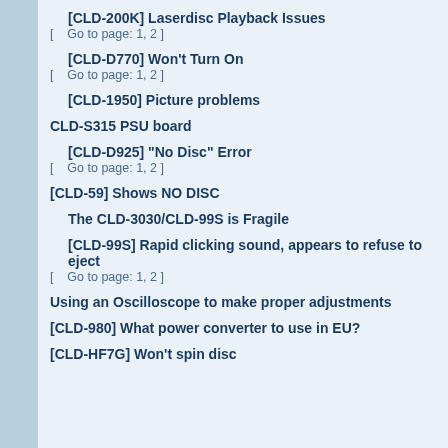[CLD-200K] Laserdisc Playback Issues
[    Go to page: 1, 2 ]
[CLD-D770] Won't Turn On
[    Go to page: 1, 2 ]
[CLD-1950] Picture problems
CLD-S315 PSU board
[CLD-D925] "No Disc" Error
[    Go to page: 1, 2 ]
[CLD-59] Shows NO DISC
The CLD-3030/CLD-99S is Fragile
[CLD-99S] Rapid clicking sound, appears to refuse to eject
[    Go to page: 1, 2 ]
Using an Oscilloscope to make proper adjustments
[CLD-980] What power converter to use in EU?
[CLD-HF7G] Won't spin disc